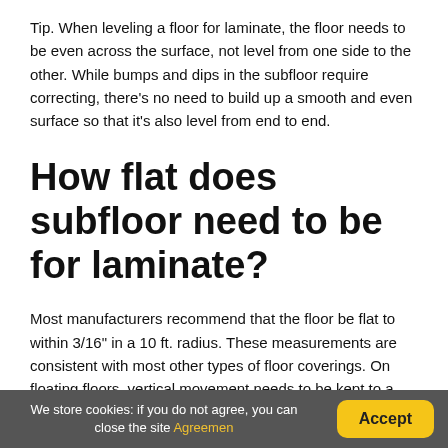Tip. When leveling a floor for laminate, the floor needs to be even across the surface, not level from one side to the other. While bumps and dips in the subfloor require correcting, there's no need to build up a smooth and even surface so that it's also level from end to end.
How flat does subfloor need to be for laminate?
Most manufacturers recommend that the floor be flat to within 3/16" in a 10 ft. radius. These measurements are consistent with most other types of floor coverings. On floating floors, vertical movement needs to be kept to a minimum.
We store cookies: if you do not agree, you can close the site Agreemen